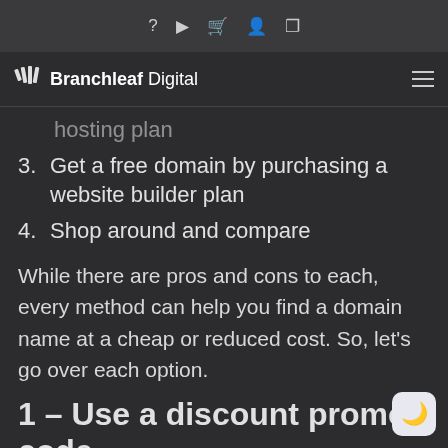? ▶ 🛒 👤 ⊞
Branchleaf Digital
hosting plan
3. Get a free domain by purchasing a website builder plan
4. Shop around and compare
While there are pros and cons to each, every method can help you find a domain name at a cheap or reduced cost. So, let's go over each option.
1 – Use a discount promo code
Often times, domain registrars and web hosting